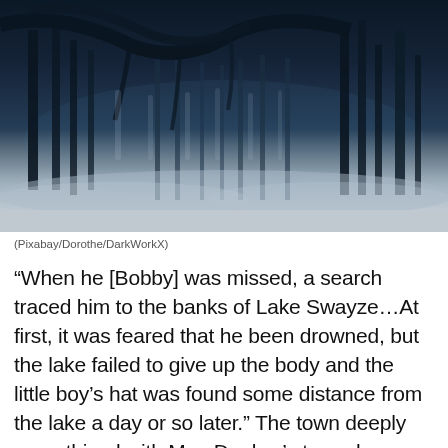[Figure (photo): Dark, foggy forest at night with bare trees and blue-tinted atmosphere. Misty ground with eerie lighting suggesting a haunting scene near a lake.]
(Pixabay/Dorothe/DarkWorkX)
“When he [Bobby] was missed, a search traced him to the banks of Lake Swayze…At first, it was feared that he been drowned, but the lake failed to give up the body and the little boy’s hat was found some distance from the lake a day or so later.” The town deeply empathized with Mrs. Dunbar’s tragedy.